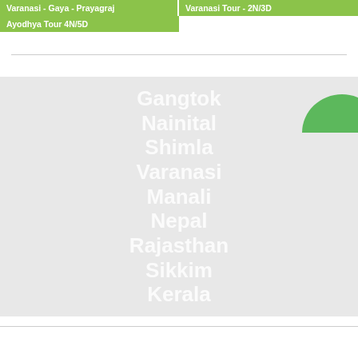Varanasi - Gaya - Prayagraj
Varanasi Tour - 2N/3D
Ayodhya Tour 4N/5D
[Figure (illustration): Word cloud / destination list on grey background showing Indian travel destinations: Gangtok, Nainital, Shimla, Varanasi, Manali, Nepal, Rajasthan, Sikkim, Kerala, with a green dome icon in the upper right]
Gangtok Nainital Shimla Varanasi Manali Nepal Rajasthan Sikkim Kerala